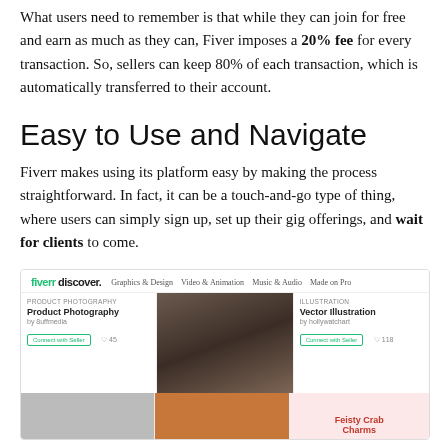What users need to remember is that while they can join for free and earn as much as they can, Fiver imposes a 20% fee for every transaction. So, sellers can keep 80% of each transaction, which is automatically transferred to their account.
Easy to Use and Navigate
Fiverr makes using its platform easy by making the process straightforward. In fact, it can be a touch-and-go type of thing, where users can simply sign up, set up their gig offerings, and wait for clients to come.
[Figure (screenshot): Screenshot of Fiverr Discover page showing navigation bar with Graphics & Design, Video & Animation, Music & Audio, Made on Pro tabs, and three cards: Product Photography by 8uffmedia, a food photo (chocolate bundt cake), Vector Illustration by hollywatchart, and bottom row showing a gift product photo and Feisty Crab Charms illustration.]